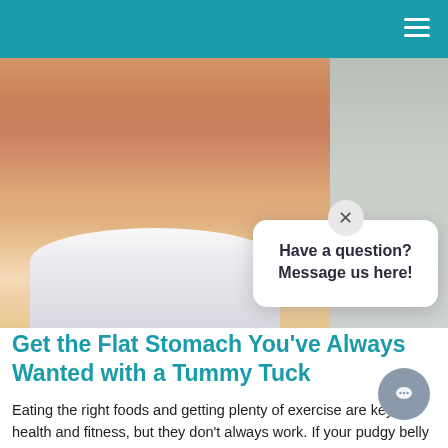[Figure (photo): Close-up photo of a toned female torso/midsection wearing white underwear, on a light grey background, illustrating a flat stomach result from tummy tuck surgery.]
Have a question? Message us here!
Get the Flat Stomach You've Always Wanted with a Tummy Tuck
Eating the right foods and getting plenty of exercise are keys to health and fitness, but they don't always work. If your pudgy belly isn't responding to these traditional tricks, it may